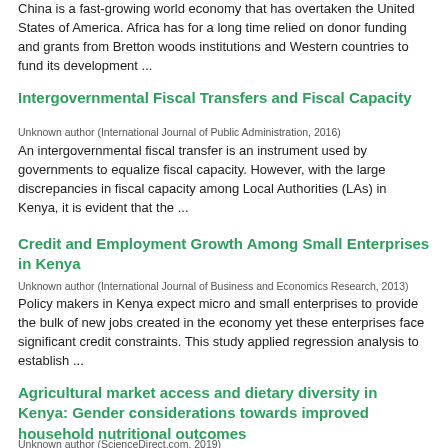China is a fast-growing world economy that has overtaken the United States of America. Africa has for a long time relied on donor funding and grants from Bretton woods institutions and Western countries to fund its development ...
Intergovernmental Fiscal Transfers and Fiscal Capacity
Unknown author (International Journal of Public Administration, 2016)
An intergovernmental fiscal transfer is an instrument used by governments to equalize fiscal capacity. However, with the large discrepancies in fiscal capacity among Local Authorities (LAs) in Kenya, it is evident that the ...
Credit and Employment Growth Among Small Enterprises in Kenya
Unknown author (International Journal of Business and Economics Research, 2013)
Policy makers in Kenya expect micro and small enterprises to provide the bulk of new jobs created in the economy yet these enterprises face significant credit constraints. This study applied regression analysis to establish ...
Agricultural market access and dietary diversity in Kenya: Gender considerations towards improved household nutritional outcomes
Unknown author (ScienceDirect.com, 2019)